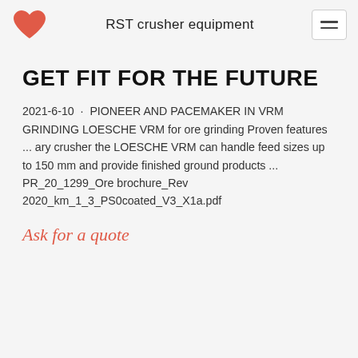RST crusher equipment
GET FIT FOR THE FUTURE
2021-6-10 · PIONEER AND PACEMAKER IN VRM GRINDING LOESCHE VRM for ore grinding Proven features ... ary crusher the LOESCHE VRM can handle feed sizes up to 150 mm and provide finished ground products ... PR_20_1299_Ore brochure_Rev 2020_km_1_3_PS0coated_V3_X1a.pdf
Ask for a quote